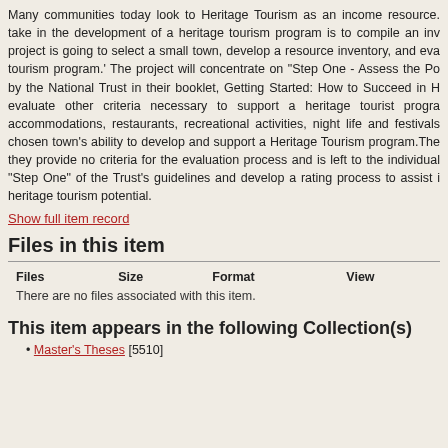Many communities today look to Heritage Tourism as an income resource. take in the development of a heritage tourism program is to compile an inv project is going to select a small town, develop a resource inventory, and eva tourism program.' The project will concentrate on "Step One - Assess the Po by the National Trust in their booklet, Getting Started: How to Succeed in H evaluate other criteria necessary to support a heritage tourist progra accommodations, restaurants, recreational activities, night life and festivals chosen town's ability to develop and support a Heritage Tourism program.The they provide no criteria for the evaluation process and is left to the individual "Step One" of the Trust's guidelines and develop a rating process to assist i heritage tourism potential.
Show full item record
Files in this item
| Files | Size | Format | View |
| --- | --- | --- | --- |
| There are no files associated with this item. |  |  |  |
This item appears in the following Collection(s)
Master's Theses [5510]